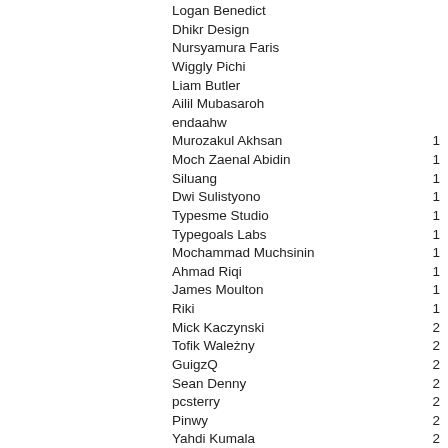Logan Benedict
Dhikr Design
Nursyamura Faris
Wiggly Pichi
Liam Butler
Ailil Mubasaroh
endaahw
Murozakul Akhsan 1
Moch Zaenal Abidin 1
Siluang 1
Dwi Sulistyono 1
Typesme Studio 1
Typegoals Labs 1
Mochammad Muchsinin 1
Ahmad Riqi 1
James Moulton 1
Riki 1
Mick Kaczynski 2
Tofik Wależny 2
GuigzQ 2
Sean Denny 2
pcsterry 2
Pinwy 2
Yahdi Kumala 2
Bido Std 2
Na Mile 2
Sabindo Aslan 2
Miracledsign - Anton Septiawan 3
1PrivateTime 3
Virgo Batty 3